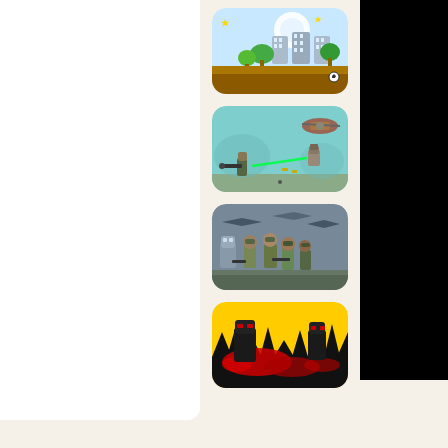[Figure (screenshot): Left white panel area]
[Figure (screenshot): Platform/Mario-style game thumbnail with green landscape, buildings, stars, and brown ground]
[Figure (screenshot): 2D shooter game thumbnail with teal background, characters firing weapons]
[Figure (screenshot): Military/action game thumbnail with soldiers and aircraft in dark grey tones]
[Figure (screenshot): Action game thumbnail with yellow background, dark silhouettes and red splatter]
[Figure (screenshot): Right black panel area]